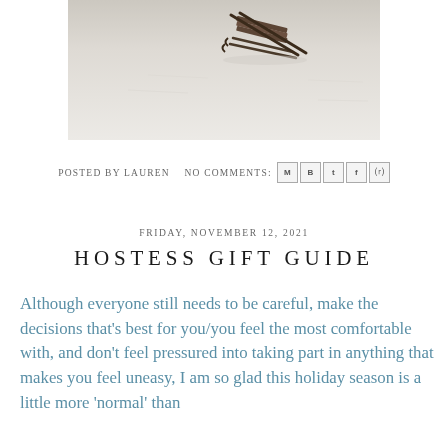[Figure (photo): Partial photo of a wooden sled on a snowy/light background, cropped at top]
POSTED BY LAUREN   NO COMMENTS:
[Figure (other): Social share icons: email, Blogger, Twitter, Facebook, Pinterest]
FRIDAY, NOVEMBER 12, 2021
HOSTESS GIFT GUIDE
Although everyone still needs to be careful, make the decisions that's best for you/you feel the most comfortable with, and don't feel pressured into taking part in anything that makes you feel uneasy, I am so glad this holiday season is a little more 'normal' than